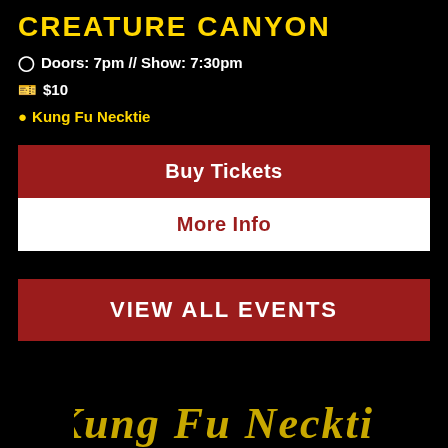CREATURE CANYON
Doors: 7pm // Show: 7:30pm
$10
Kung Fu Necktie
Buy Tickets
More Info
VIEW ALL EVENTS
[Figure (logo): Kung Fu Necktie logo in yellow stylized script on black background]